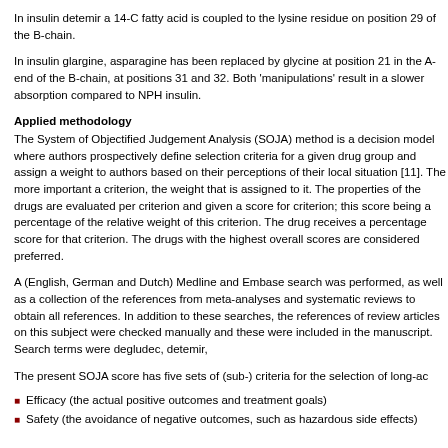In insulin detemir a 14-C fatty acid is coupled to the lysine residue on position 29 of the B-chain.
In insulin glargine, asparagine has been replaced by glycine at position 21 in the A-end of the B-chain, at positions 31 and 32. Both 'manipulations' result in a slower absorption compared to NPH insulin.
Applied methodology
The System of Objectified Judgement Analysis (SOJA) method is a decision model where authors prospectively define selection criteria for a given drug group and assign a weight to authors based on their perceptions of their local situation [11]. The more important a criterion, the weight that is assigned to it. The properties of the drugs are evaluated per criterion and given a score for criterion; this score being a percentage of the relative weight of this criterion. The drug receives a percentage score for that criterion. The drugs with the highest overall scores are considered preferred.
A (English, German and Dutch) Medline and Embase search was performed, as well as a collection of the references from meta-analyses and systematic reviews to obtain all references. In addition to these searches, the references of review articles on this subject were checked manually and these were included in the manuscript. Search terms were degludec, detemir,
The present SOJA score has five sets of (sub-) criteria for the selection of long-ac
Efficacy (the actual positive outcomes and treatment goals)
Safety (the avoidance of negative outcomes, such as hazardous side effects)